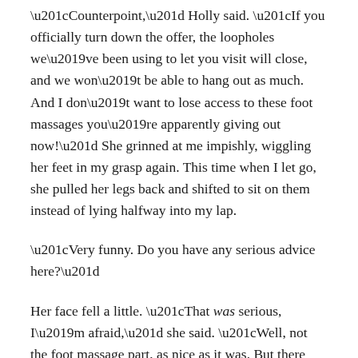“Counterpoint,” Holly said. “If you officially turn down the offer, the loopholes we’ve been using to let you visit will close, and we won’t be able to hang out as much. And I don’t want to lose access to these foot massages you’re apparently giving out now!” She grinned at me impishly, wiggling her feet in my grasp again. This time when I let go, she pulled her legs back and shifted to sit on them instead of lying halfway into my lap.
“Very funny. Do you have any serious advice here?”
Her face fell a little. “That was serious, I’m afraid,” she said. “Well, not the foot massage part, as nice as it was. But there really are rules that allow ‘prospective members’ to visit ‘for the purpose of exposing them to the environment’.” Her words literally appeared in the air above her, quotes and all, and I marveled at the